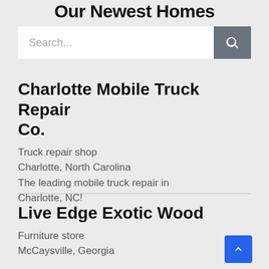Our Newest Homes
[Figure (screenshot): Search bar with text input showing placeholder 'Search...' and a dark gray search button with magnifying glass icon]
Charlotte Mobile Truck Repair Co.
Truck repair shop
Charlotte, North Carolina
The leading mobile truck repair in Charlotte, NC!
Live Edge Exotic Wood
Furniture store
McCaysville, Georgia